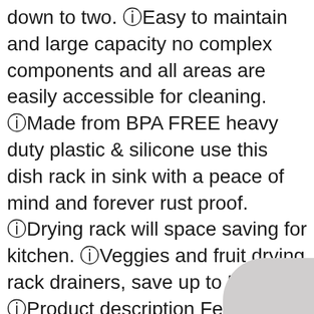down to two. ⓘEasy to maintain and large capacity no complex components and all areas are easily accessible for cleaning. ⓘMade from BPA FREE heavy duty plastic & silicone use this dish rack in sink with a peace of mind and forever rust proof. ⓘDrying rack will space saving for kitchen. ⓘVeggies and fruit drying rack drainers, save up to 50%.. ⓘProduct description Features: The collapsible dish drying storage rack stores and organizes dinnerware and glassware for air drying. ⓘFlexible material allows dish rack to collapse flat for space.
[Figure (photo): Partial view of a product photo in the bottom-right corner, showing a gray/white curved surface.]